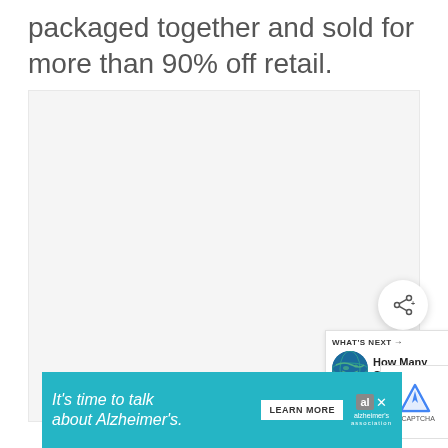packaged together and sold for more than 90% off retail.
[Figure (other): Empty light gray content area with three gray dots indicating a loading or carousel indicator, and a share button (circle with share icon) in the lower right corner]
[Figure (infographic): What's Next panel showing a globe thumbnail image and text 'How Many Continents...']
[Figure (infographic): reCAPTCHA verification widget partially visible]
[Figure (infographic): Advertisement banner: It's time to talk about Alzheimer's. with a Learn More button and Alzheimer's Association logo, with a close (X) button]